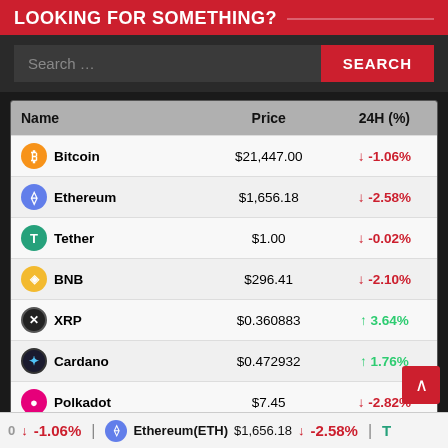LOOKING FOR SOMETHING?
| Name | Price | 24H (%) |
| --- | --- | --- |
| Bitcoin | $21,447.00 | ↓ -1.06% |
| Ethereum | $1,656.18 | ↓ -2.58% |
| Tether | $1.00 | ↓ -0.02% |
| BNB | $296.41 | ↓ -2.10% |
| XRP | $0.360883 | ↑ 3.64% |
| Cardano | $0.472932 | ↑ 1.76% |
| Polkadot | $7.45 | ↓ -2.82% |
| Litecoin | $56.01 | ↓ -1.16% |
| Chainlink | $6.96 | ↓ -4.38% |
| Bitcoin Cash | $126.89 | ↓ -2.48% |
Ticker: -1.06% | Ethereum(ETH) $1,656.18 | -2.58%